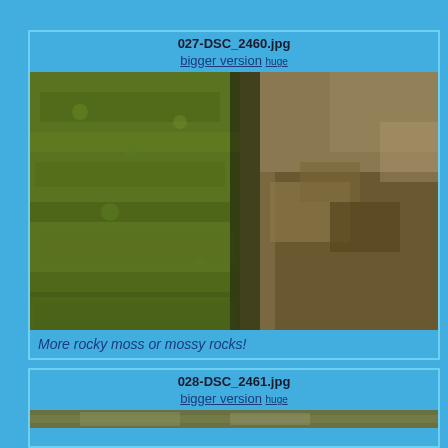027-DSC_2460.jpg
bigger version huge
[Figure (photo): Close-up photograph of mossy green rocks with organic debris]
More rocky moss or mossy rocks!
028-DSC_2461.jpg
bigger version huge